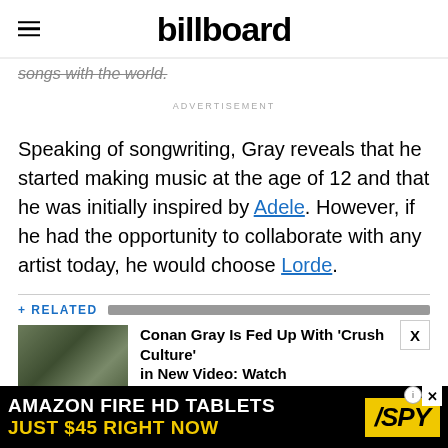billboard
songs with the world.
ADVERTISEMENT
Speaking of songwriting, Gray reveals that he started making music at the age of 12 and that he was initially inspired by Adele. However, if he had the opportunity to collaborate with any artist today, he would choose Lorde.
+ RELATED
[Figure (photo): Thumbnail image of Conan Gray related article]
Conan Gray Is Fed Up With 'Crush Culture' in New Video: Watch
[Figure (infographic): Amazon Fire HD Tablets advertisement: JUST $45 RIGHT NOW, SPY logo]